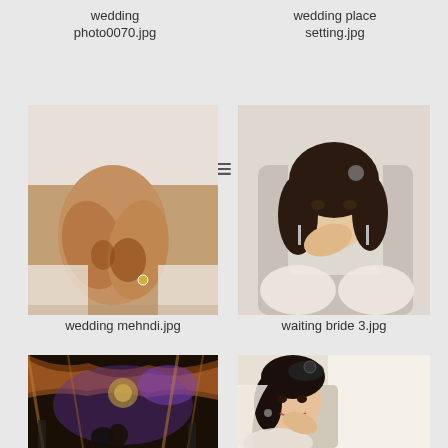wedding photo0070.jpg
wedding place setting.jpg
[Figure (photo): Close-up wedding photo of bride's hands with mehndi henna design, wearing a ring, resting on white fabric]
[Figure (photo): Portrait of a bride with dark curly hair and accessories, sitting in a car, looking at camera with hand near face]
wedding mehndi.jpg
waiting bride 3.jpg
[Figure (photo): Wedding reception hall photo with colorful purple lighting, draped fabric ceiling, and couple kissing on the dance floor]
[Figure (photo): Smiling bride with dark hair, wearing a fascinator hat, sitting in a car]